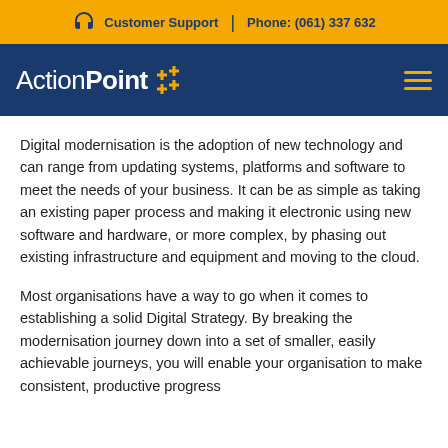Customer Support   |   Phone: (061) 337 632
[Figure (logo): ActionPoint logo with yellow cross/plus icon on dark blue navigation bar with hamburger menu icon]
Digital modernisation is the adoption of new technology and can range from updating systems, platforms and software to meet the needs of your business. It can be as simple as taking an existing paper process and making it electronic using new software and hardware, or more complex, by phasing out existing infrastructure and equipment and moving to the cloud.
Most organisations have a way to go when it comes to establishing a solid Digital Strategy. By breaking the modernisation journey down into a set of smaller, easily achievable journeys, you will enable your organisation to make consistent, productive progress